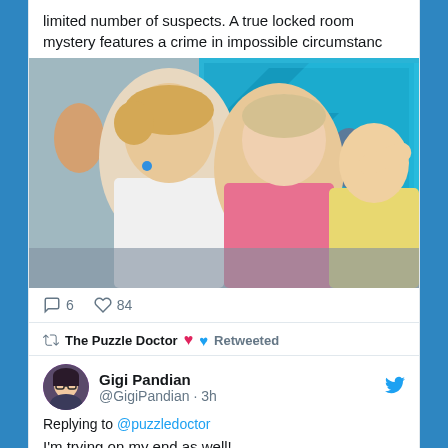limited number of suspects. A true locked room mystery features a crime in impossible circumstanc
[Figure (photo): Photo of a young man in a white shirt and a woman in a pink top at an outdoor event, embracing and facing each other closely, with a crowd and blue LED screen in the background.]
6 comments, 84 likes
The Puzzle Doctor ❤ Retweeted
[Figure (photo): Avatar of Gigi Pandian - person with glasses, dark hair, circular profile photo]
Gigi Pandian @GigiPandian · 3h
Replying to @puzzledoctor
I'm trying on my end as well!